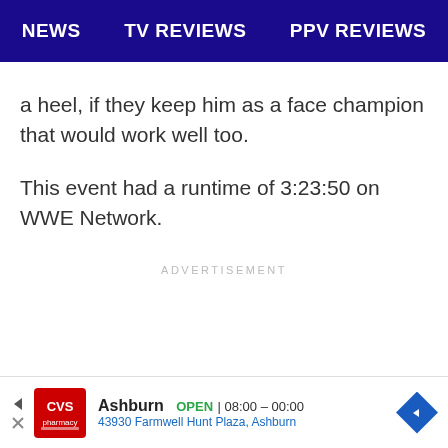NEWS   TV REVIEWS   PPV REVIEWS
a heel, if they keep him as a face champion that would work well too.
This event had a runtime of 3:23:50 on WWE Network.
ADVERTISEMENT
[Figure (other): CVS Pharmacy advertisement banner showing Ashburn location, OPEN 08:00 - 00:00, 43930 Farmwell Hunt Plaza, Ashburn]